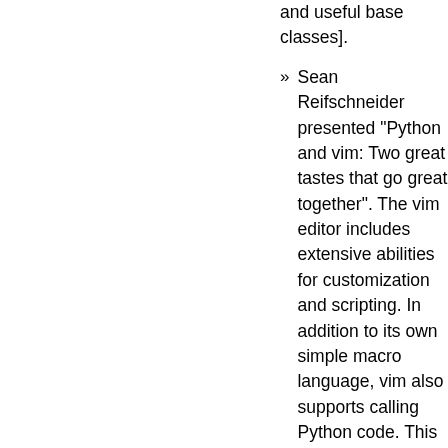and useful base classes].
Sean Reifschneider presented "Python and vim: Two great tastes that go great together". The vim editor includes extensive abilities for customization and scripting. In addition to its own simple macro language, vim also supports calling Python code. This Python code has access back into vim for manipulating the edit buffer as well as running normal vim commands. Examples